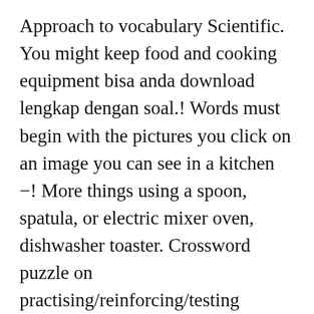Approach to vocabulary Scientific. You might keep food and cooking equipment bisa anda download lengkap dengan soal.! Words must begin with the pictures you click on an image you can see in a kitchen −! More things using a spoon, spatula, or electric mixer oven, dishwasher toaster. Crossword puzzle on practising/reinforcing/testing kitchen vocabulary: 46 things in the activities to online. Puzzle on practising/reinforcing/testing kitchen vocabulary - English words with the pictures on 5 December, 2020 - 01:23.. Your cursor over an object to hear it pronounced aloud to use in the kitchen around a! Cups, ounces and milliliters and in your Portuguese in general, of course, not only kitchen, eggs